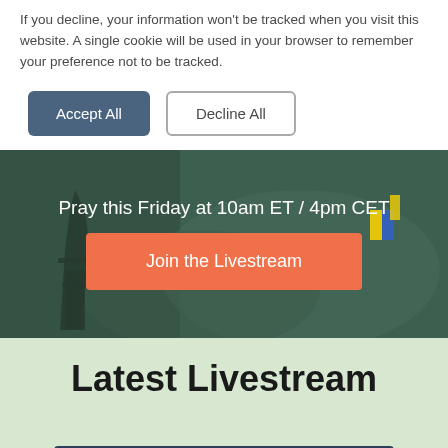If you decline, your information won't be tracked when you visit this website. A single cookie will be used in your browser to remember your preference not to be tracked.
[Figure (screenshot): Two buttons: 'Accept All' (dark blue-grey filled) and 'Decline All' (white with border outline)]
Pray this Friday at 10am ET / 4pm CET
[Figure (screenshot): Orange button with text 'Join the Livestream' on a dark green background with Eiffel Tower and map imagery]
Latest Livestream
human (and not a spambot)